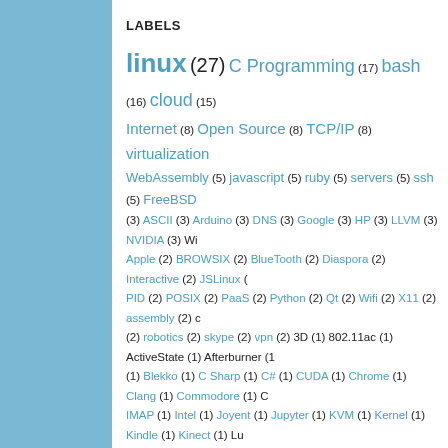LABELS
linux (27) C Programming (17) bash (16) cloud (15) Internet (8) Open Source (8) TCP/IP (8) virtualization WebAssembly (5) javascript (5) ruby (5) servers (5) ssh (5) FreeBSD (3) ASCII (3) Arduino (3) DNS (3) Google (3) HP (3) LLVM (3) NVIDIA (3) Wi Apple (2) BROWSIX (2) BlueTooth (2) Diaspora (2) Interactive (2) JSLinux ( PID (2) POSIX (2) PaaS (2) Python (2) Qt (2) Wifi (2) X11 (2) assembly (2) c (2) robotics (2) skype (2) vpn (2) 3D (1) 802.11ac (1) ActiveState (1) Afterburner (1) Blekko (1) C Sharp (1) C# (1) CUDA (1) Chrome (1) Clang (1) Commodore (1) C IMAP (1) Intel (1) Joyent (1) Jupyter (1) KVM (1) Kernel (1) Kindle (1) Kinect (1) Lua OpenVPN (1) Oracle (1) PC Speaker (1) PCBSD (1) Parler (1) Piezo (1) Printing (1) Solaris (1) Stuxnet (1) THREADS (1) Tablet (1) Tango (1) Tcl (1) Tim Berners-Lee (1) Virus (1) WebRTC (1) X (1) X11 "Input Device" (1) api (1) bc (1) blades (1) bomb (1) b driver (1) dissassembler (1) dos (1) email (1) event (1) firewall (1) flash (1) fork (1) a password (1) passwordless (1) playstation (1) protocols (1) proxy (1) radio (1) reliablity (1) video (1) wasm (1) websocket (1) www (1) xmpp (1) zigbee (1)
Power